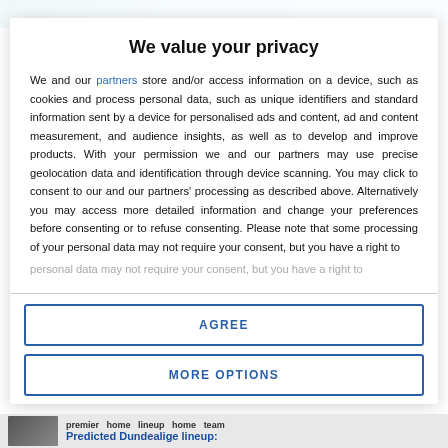[Figure (photo): Top banner image of a website partially visible behind a privacy consent modal overlay]
We value your privacy
We and our partners store and/or access information on a device, such as cookies and process personal data, such as unique identifiers and standard information sent by a device for personalised ads and content, ad and content measurement, and audience insights, as well as to develop and improve products. With your permission we and our partners may use precise geolocation data and identification through device scanning. You may click to consent to our and our partners' processing as described above. Alternatively you may access more detailed information and change your preferences before consenting or to refuse consenting. Please note that some processing of your personal data may not require your consent, but you have a right to
AGREE
MORE OPTIONS
[Figure (screenshot): Bottom strip of webpage showing article tags and partial headline 'Predicted Dundealige lineup:']